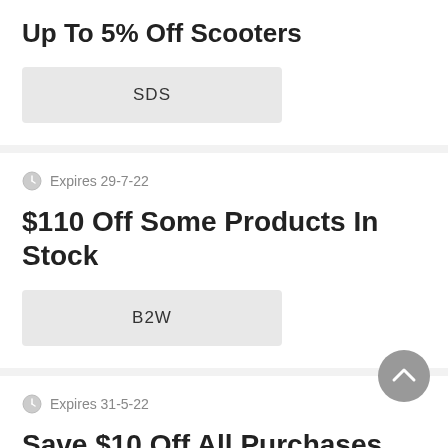Up To 5% Off Scooters
SDS
Expires 29-7-22
$110 Off Some Products In Stock
B2W
Expires 31-5-22
Save $10 Off All Purchases